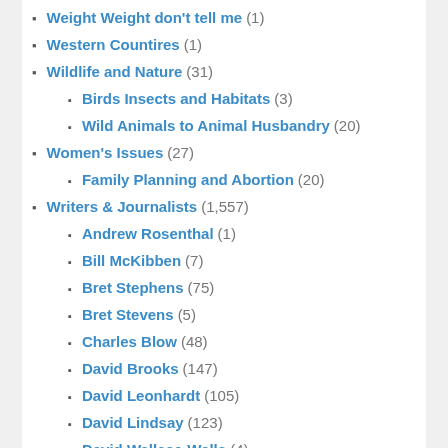Weight Weight don't tell me (1)
Western Countires (1)
Wildlife and Nature (31)
Birds Insects and Habitats (3)
Wild Animals to Animal Husbandry (20)
Women's Issues (27)
Family Planning and Abortion (20)
Writers & Journalists (1,557)
Andrew Rosenthal (1)
Bill McKibben (7)
Bret Stephens (75)
Bret Stevens (5)
Charles Blow (48)
David Brooks (147)
David Leonhardt (105)
David Lindsay (123)
David Wallace-Wells (4)
Editorials (1)
Ezra Klein (15)
Frank Bruni (58)
Gail Collins (57)